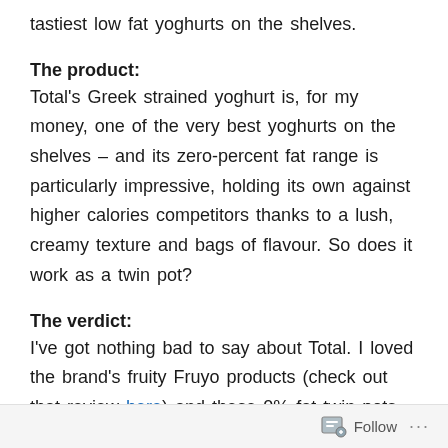tastiest low fat yoghurts on the shelves.
The product:
Total's Greek strained yoghurt is, for my money, one of the very best yoghurts on the shelves – and its zero-percent fat range is particularly impressive, holding its own against higher calories competitors thanks to a lush, creamy texture and bags of flavour. So does it work as a twin pot?
The verdict:
I've got nothing bad to say about Total. I loved the brand's fruity Fruyo products (check out that review here) and these 0% fat twin pots are just as good. The zero fat yoghurt is the product against which other
Follow ...